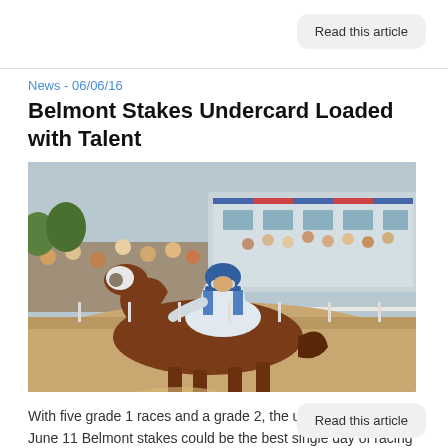Read this article
News - 06/06/16
Belmont Stakes Undercard Loaded with Talent
[Figure (photo): A jockey in blue and white silks riding a chestnut horse on a dirt racetrack, with spectators and a grandstand visible in the background.]
With five grade 1 races and a grade 2, the undercard for the June 11 Belmont stakes could be the best single day of racing on the calendar outside of the Breeders' Cup.
Read this article